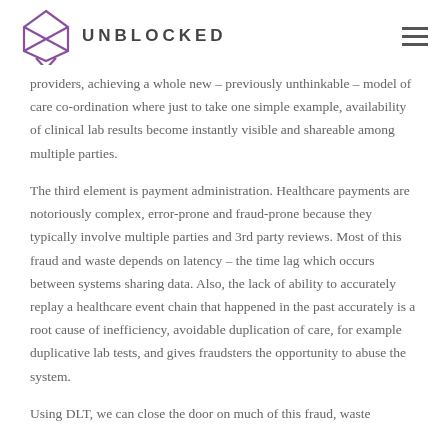UNBLOCKED
providers, achieving a whole new – previously unthinkable – model of care co-ordination where just to take one simple example, availability of clinical lab results become instantly visible and shareable among multiple parties.
The third element is payment administration. Healthcare payments are notoriously complex, error-prone and fraud-prone because they typically involve multiple parties and 3rd party reviews. Most of this fraud and waste depends on latency – the time lag which occurs between systems sharing data. Also, the lack of ability to accurately replay a healthcare event chain that happened in the past accurately is a root cause of inefficiency, avoidable duplication of care, for example duplicative lab tests, and gives fraudsters the opportunity to abuse the system.
Using DLT, we can close the door on much of this fraud, waste